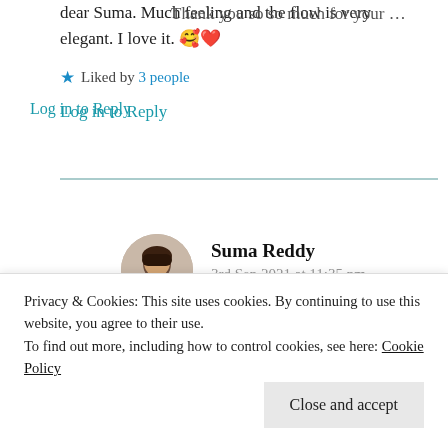dear Suma. Much feeling and the flow is very elegant. I love it. 🥰❤️
Liked by 3 people
Log in to Reply
Suma Reddy
3rd Sep 2021 at 11:35 pm
Thank you so much for your kind...
Log in to Reply
Privacy & Cookies: This site uses cookies. By continuing to use this website, you agree to their use.
To find out more, including how to control cookies, see here: Cookie Policy
Close and accept